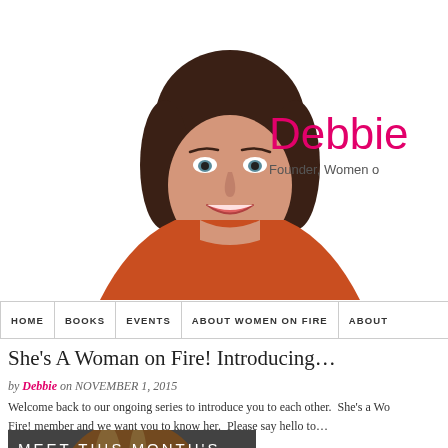[Figure (photo): Professional headshot of a woman with dark hair wearing an orange/coral blazer, smiling]
Debbie
Founder, Women o
HOME | BOOKS | EVENTS | ABOUT WOMEN ON FIRE | ABOUT
She’s A Woman on Fire! Introducing…
by Debbie on NOVEMBER 1, 2015
Welcome back to our ongoing series to introduce you to each other. She’s a Wo Fire! member and we want you to know her. Please say hello to…
[Figure (photo): Portrait of a woman with reddish-blonde hair, with text overlay MEET THIS MONTH'S]